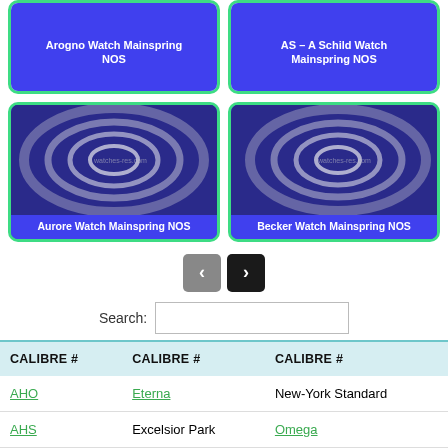[Figure (photo): Arogno Watch Mainspring NOS product card with spiral spring on dark blue background]
[Figure (photo): AS – A Schild Watch Mainspring NOS product card with spiral spring on dark blue background]
[Figure (photo): Aurore Watch Mainspring NOS product card with spiral spring on dark blue background]
[Figure (photo): Becker Watch Mainspring NOS product card with spiral spring on dark blue background]
[Figure (screenshot): Navigation previous and next arrow buttons (grey left, black right)]
Search:
| CALIBRE # | CALIBRE # | CALIBRE # |
| --- | --- | --- |
| AHO | Eterna | New-York Standard |
| AHS | Excelsior Park | Omega |